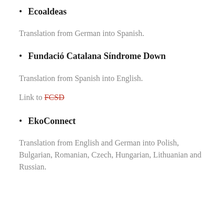Ecoaldeas
Translation from German into Spanish.
Fundació Catalana Síndrome Down
Translation from Spanish into English.
Link to FCSD
EkoConnect
Translation from English and German into Polish, Bulgarian, Romanian, Czech, Hungarian, Lithuanian and Russian.